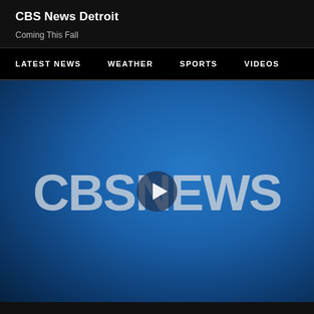CBS News Detroit
Coming This Fall
LATEST NEWS   WEATHER   SPORTS   VIDEOS
[Figure (screenshot): CBS News video player with blue gradient background showing CBS News logo with eye icon and a play button overlay in the center]